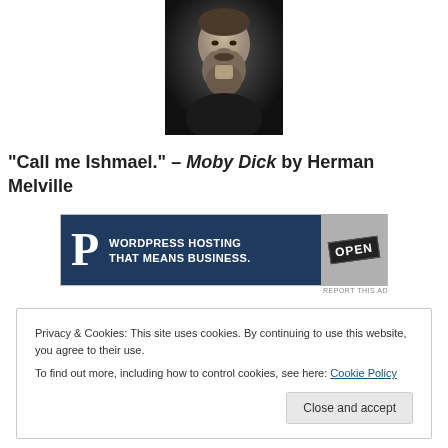[Figure (photo): Black and white portrait photograph of Herman Melville, showing a bearded man in dark clothing against a dark background]
“Call me Ishmael.” – Moby Dick by Herman Melville
[Figure (other): Advertisement banner: WordPress Hosting That Means Business. with a letter P logo on dark blue background and an OPEN sign image on the right]
Privacy & Cookies: This site uses cookies. By continuing to use this website, you agree to their use.
To find out more, including how to control cookies, see here: Cookie Policy
Close and accept